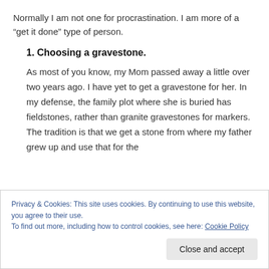Normally I am not one for procrastination. I am more of a “get it done” type of person.
1. Choosing a gravestone.
As most of you know, my Mom passed away a little over two years ago. I have yet to get a gravestone for her. In my defense, the family plot where she is buried has fieldstones, rather than granite gravestones for markers. The tradition is that we get a stone from where my father grew up and use that for the
Privacy & Cookies: This site uses cookies. By continuing to use this website, you agree to their use.
To find out more, including how to control cookies, see here: Cookie Policy